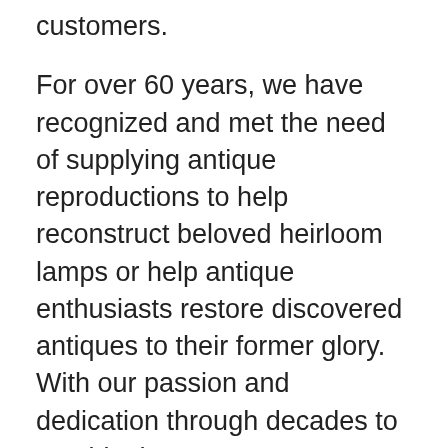customers.
For over 60 years, we have recognized and met the need of supplying antique reproductions to help reconstruct beloved heirloom lamps or help antique enthusiasts restore discovered antiques to their former glory. With our passion and dedication through decades to provide the most accurate details replicated to perfection, you're bound to find the exact piece you need to finish your antique collection. Or, if you are constructing a new lamp based on the romance and style of eras past, you'll no doubt find that rare matching cast metal lamp finial you are looking for—right here with us.
Our selection has beautiful, simplistic, refined finials as well as stunning florals,